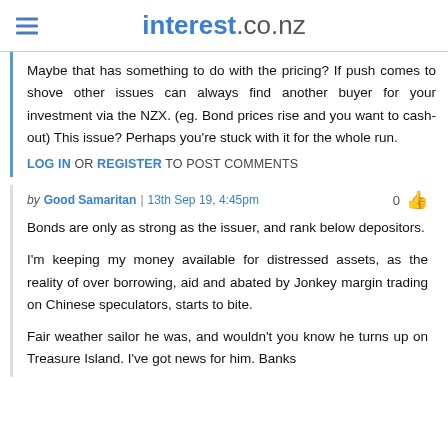interest.co.nz
Maybe that has something to do with the pricing? If push comes to shove other issues can always find another buyer for your investment via the NZX. (eg. Bond prices rise and you want to cash-out) This issue? Perhaps you're stuck with it for the whole run.
LOG IN OR REGISTER TO POST COMMENTS
by Good Samaritan | 13th Sep 19, 4:45pm
Bonds are only as strong as the issuer, and rank below depositors.

I'm keeping my money available for distressed assets, as the reality of over borrowing, aid and abated by Jonkey margin trading on Chinese speculators, starts to bite.

Fair weather sailor he was, and wouldn't you know he turns up on Treasure Island. I've got news for him. Banks